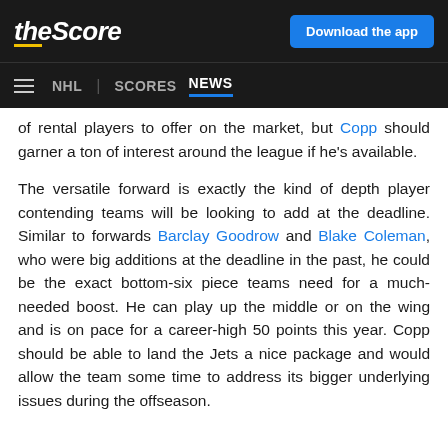theScore | Download the app
NHL | SCORES NEWS
of rental players to offer on the market, but Copp should garner a ton of interest around the league if he's available.
The versatile forward is exactly the kind of depth player contending teams will be looking to add at the deadline. Similar to forwards Barclay Goodrow and Blake Coleman, who were big additions at the deadline in the past, he could be the exact bottom-six piece teams need for a much-needed boost. He can play up the middle or on the wing and is on pace for a career-high 50 points this year. Copp should be able to land the Jets a nice package and would allow the team some time to address its bigger underlying issues during the offseason.